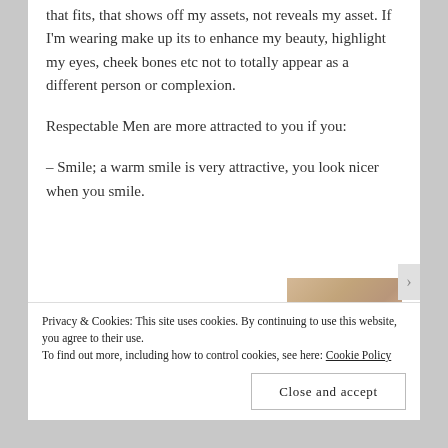that fits, that shows off my assets, not reveals my asset. If I'm wearing make up its to enhance my beauty, highlight my eyes, cheek bones etc not to totally appear as a different person or complexion.
Respectable Men are more attracted to you if you:
– Smile; a warm smile is very attractive, you look nicer when you smile.
[Figure (photo): Partial image of a person, cropped at bottom of page]
Privacy & Cookies: This site uses cookies. By continuing to use this website, you agree to their use.
To find out more, including how to control cookies, see here: Cookie Policy
Close and accept